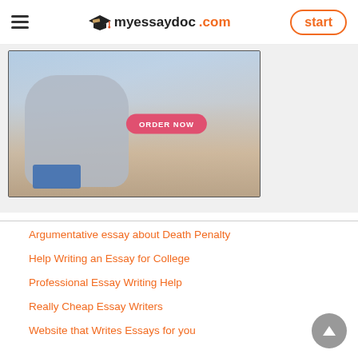myessaydoc.com — start
[Figure (photo): Banner image showing a person in a grey sweater holding books with an ORDER NOW button overlay]
Argumentative essay about Death Penalty
Help Writing an Essay for College
Professional Essay Writing Help
Really Cheap Essay Writers
Website that Writes Essays for you